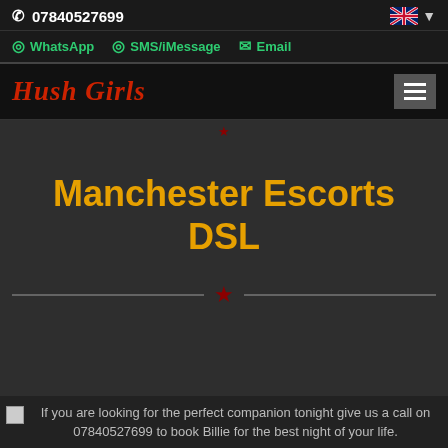07840527699
WhatsApp  SMS/iMessage  Email
Hush Girls
Manchester Escorts DSL
If you are looking for the perfect companion tonight give us a call on 07840527699 to book Billie for the best night of your life.